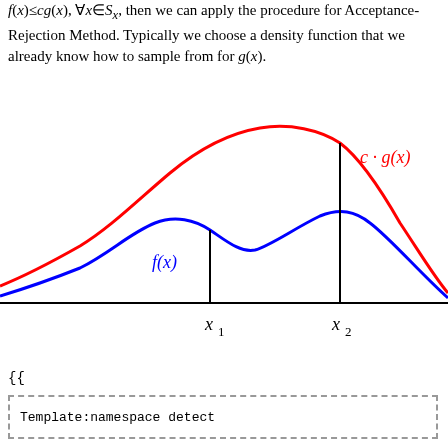f(x)≤cg(x), ∀x∈S_x, then we can apply the procedure for Acceptance-Rejection Method. Typically we choose a density function that we already know how to sample from for g(x).
[Figure (continuous-plot): Plot showing two curves: a red curve labeled c·g(x) that is higher and bell-shaped, and a blue curve labeled f(x) that is lower with two humps. Two vertical lines at x1 and x2 touch the blue curve at local extrema. The x-axis is a horizontal line. The curves demonstrate that c·g(x) is an envelope above f(x).]
{{
Template:namespace detect